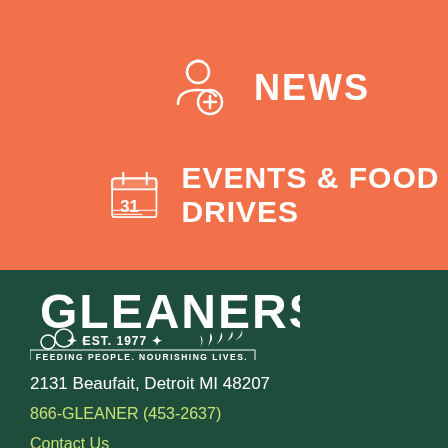[Figure (infographic): Person/user icon with plus sign and NEWS label on orange background]
[Figure (infographic): Calendar icon showing 31 with EVENTS & FOOD DRIVES label on orange background]
[Figure (logo): Gleaners logo - EST. 1977, FEEDING PEOPLE. NOURISHING LIVES. on dark green background]
2131 Beaufait, Detroit MI 48207
866-GLEANER (453-2637)
Contact Us